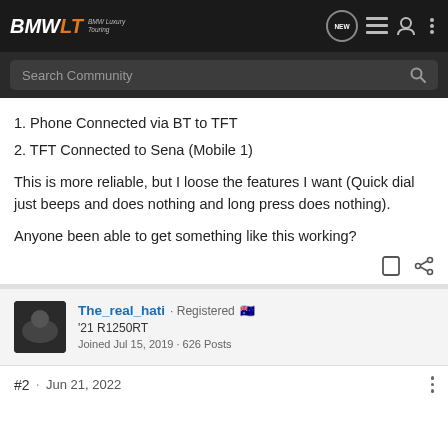BMWLT BMW Luxury Touring — navigation bar with search
1. Phone Connected via BT to TFT
2. TFT Connected to Sena (Mobile 1)
This is more reliable, but I loose the features I want (Quick dial just beeps and does nothing and long press does nothing).
Anyone been able to get something like this working?
The_real_hati · Registered 🇦🇺
'21 R1250RT
Joined Jul 15, 2019 · 626 Posts
#2 · Jun 21, 2022